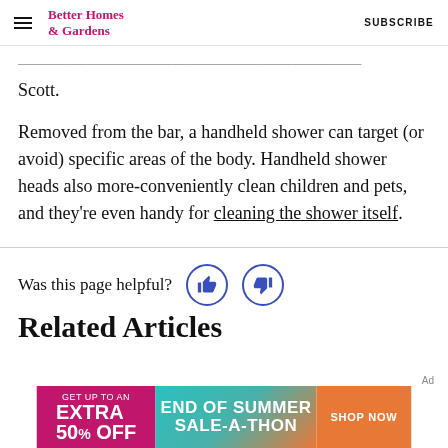Better Homes & Gardens   SUBSCRIBE
Scott.
Removed from the bar, a handheld shower can target (or avoid) specific areas of the body. Handheld shower heads also more-conveniently clean children and pets, and they're even handy for cleaning the shower itself.
Was this page helpful?
Related Articles
[Figure (other): Advertisement banner: GET UP TO AN EXTRA 50% OFF — END OF SUMMER SALE-A-THON — SHOP NOW]